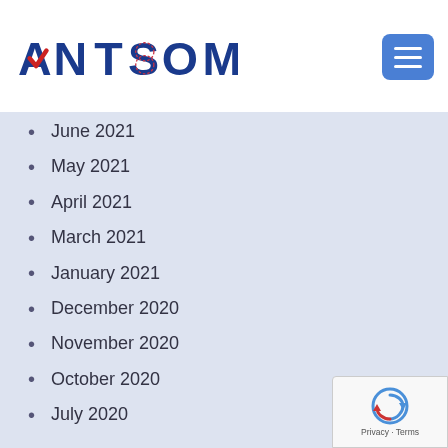ANTSOMI
June 2021
May 2021
April 2021
March 2021
January 2021
December 2020
November 2020
October 2020
July 2020